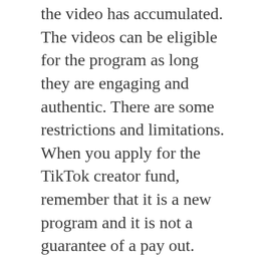the video has accumulated. The videos can be eligible for the program as long they are engaging and authentic. There are some restrictions and limitations. When you apply for the TikTok creator fund, remember that it is a new program and it is not a guarantee of a pay out.
You can also make money on the social media site without getting invited to Hype House. If you don't have a D'Amelio sister fan base, you can start earning from TikTok through its Creator Fund. TikTok allows you to earn between 2 and 4 cents for every thousand users. As long as your video is high quality and shows potential for viral growth, you can earn money through TikTok.
Selling merchandise on TikTok